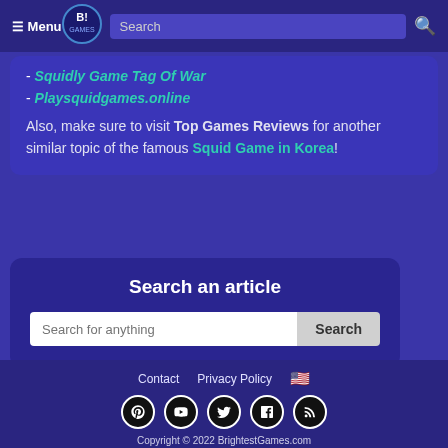≡ Menu | [Logo] | Search 🔍
- Squidly Game Tag Of War
- Playsquidgames.online
Also, make sure to visit Top Games Reviews for another similar topic of the famous Squid Game in Korea!
Search an article
Search for anything [Search button]
Contact  Privacy Policy 🇺🇸  [social icons]  Copyright © 2022 BrightestGames.com